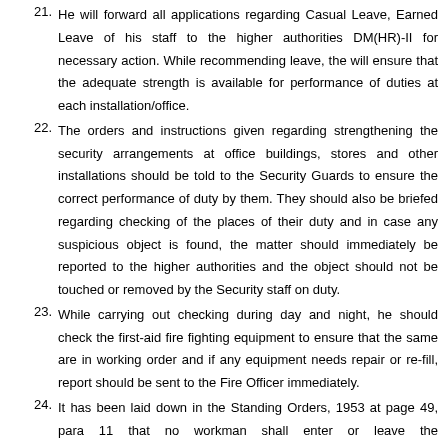21. He will forward all applications regarding Casual Leave, Earned Leave of his staff to the higher authorities DM(HR)-II for necessary action. While recommending leave, the will ensure that the adequate strength is available for performance of duties at each installation/office.
22. The orders and instructions given regarding strengthening the security arrangements at office buildings, stores and other installations should be told to the Security Guards to ensure the correct performance of duty by them. They should also be briefed regarding checking of the places of their duty and in case any suspicious object is found, the matter should immediately be reported to the higher authorities and the object should not be touched or removed by the Security staff on duty.
23. While carrying out checking during day and night, he should check the first-aid fire fighting equipment to ensure that the same are in working order and if any equipment needs repair or re-fill, report should be sent to the Fire Officer immediately.
24. It has been laid down in the Standing Orders, 1953 at page 49, para 11 that no workman shall enter or leave the installations/offices/stores except by the gate or gates appointed for the purpose. The workmen are liable to be